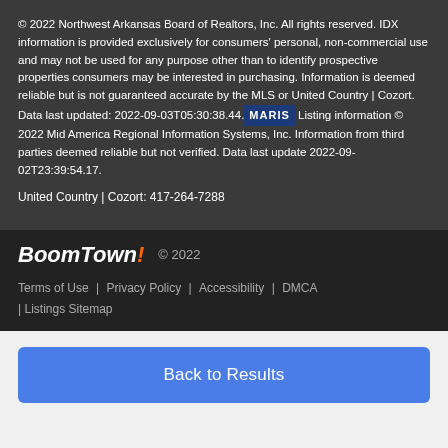© 2022 Northwest Arkansas Board of Realtors, Inc. All rights reserved. IDX information is provided exclusively for consumers' personal, non-commercial use and may not be used for any purpose other than to identify prospective properties consumers may be interested in purchasing. Information is deemed reliable but is not guaranteed accurate by the MLS or United Country | Cozort. Data last updated: 2022-09-03T05:30:38.44. [MARIS] Listing information © 2022 Mid America Regional Information Systems, Inc. Information from third parties deemed reliable but not verified. Data last update 2022-09-02T23:39:54.17.
United Country | Cozort: 417-264-7288
BoomTown! © 2022 Terms of Use | Privacy Policy | Accessibility | DMCA | Listings Sitemap
Back to Results